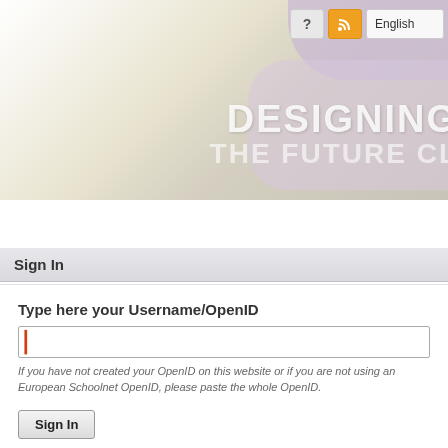[Figure (screenshot): ITEC website header with gradient background and purple/pink decorative blobs, showing 'DESIGNING THE FUTURE CL...' text in large white letters]
HOME | ABOUT ITEC | RESULTS | NEWS | RESOURCES | COMMUN...
Sign In
Type here your Username/OpenID
If you have not created your OpenID on this website or if you are not using an European Schoolnet OpenID, please paste the whole OpenID.
Sign In
Create account
Forgot your password?